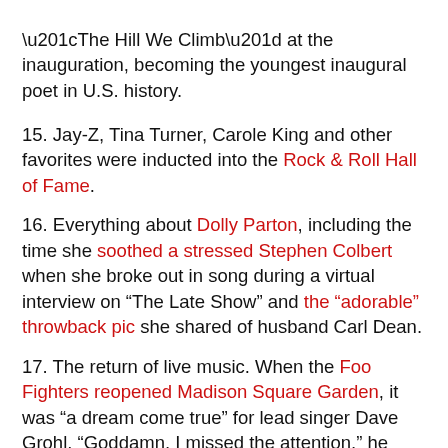“The Hill We Climb” at the inauguration, becoming the youngest inaugural poet in U.S. history.
15. Jay-Z, Tina Turner, Carole King and other favorites were inducted into the Rock & Roll Hall of Fame.
16. Everything about Dolly Parton, including the time she soothed a stressed Stephen Colbert when she broke out in song during a virtual interview on “The Late Show” and the “adorable” throwback pic she shared of husband Carl Dean.
17. The return of live music. When the Foo Fighters reopened Madison Square Garden, it was “a dream come true” for lead singer Dave Grohl. “Goddamn, I missed the attention,” he quipped during the nearly three-hour show.